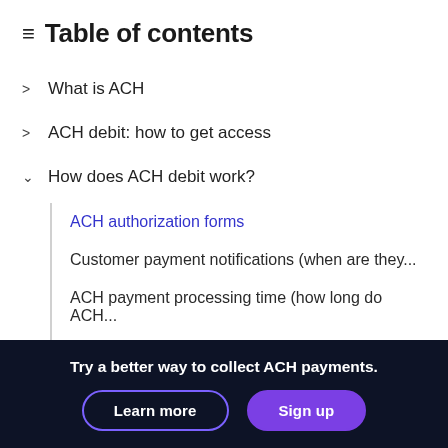Table of contents
What is ACH
ACH debit: how to get access
How does ACH debit work?
ACH authorization forms
Customer payment notifications (when are they...
ACH payment processing time (how long do ACH...
Submitting ACH payment requests to the bank
Try a better way to collect ACH payments.
Learn more
Sign up